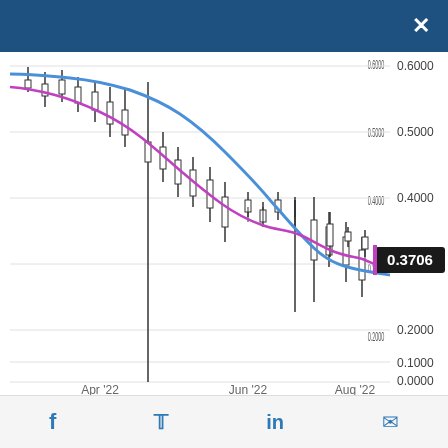[Figure (continuous-plot): Candlestick chart with two moving average lines (blue and purple/magenta) showing a financial instrument price declining from ~0.60 in April 2022 to ~0.37 in August 2022. Y-axis shows values from 0.0000 to 0.6000. X-axis shows dates: Apr'22, Jun'22, Aug'22. A price label shows 0.3706.]
f  Twitter  in  mail